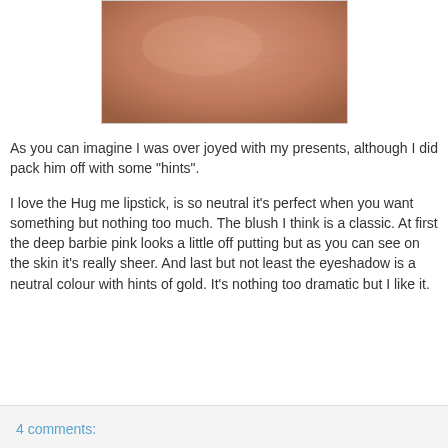[Figure (photo): Close-up photo of skin with a warm peach/tan tone, showing skin texture and fine lines]
As you can imagine I was over joyed with my presents, although I did pack him off with some "hints".
I love the Hug me lipstick, is so neutral it's perfect when you want something but nothing too much. The blush I think is a classic. At first the deep barbie pink looks a little off putting but as you can see on the skin it's really sheer. And last but not least the eyeshadow is a neutral colour with hints of gold. It's nothing too dramatic but I like it.
4 comments: